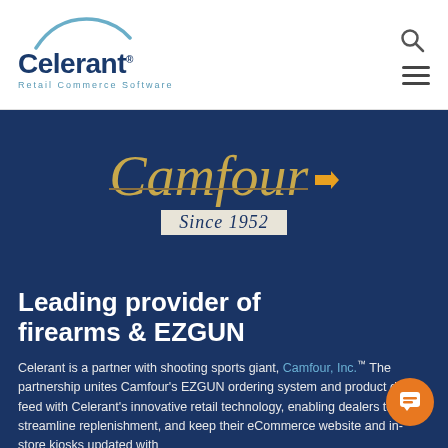[Figure (logo): Celerant Retail Commerce Software logo with arc graphic above text]
[Figure (logo): Camfour Since 1952 logo on dark navy background with gold italic serif text and bullet accent]
Leading provider of firearms & EZGUN
Celerant is a partner with shooting sports giant, Camfour, Inc.™ The partnership unites Camfour's EZGUN ordering system and product data feed with Celerant's innovative retail technology, enabling dealers to streamline replenishment, and keep their eCommerce website and in-store kiosks updated with